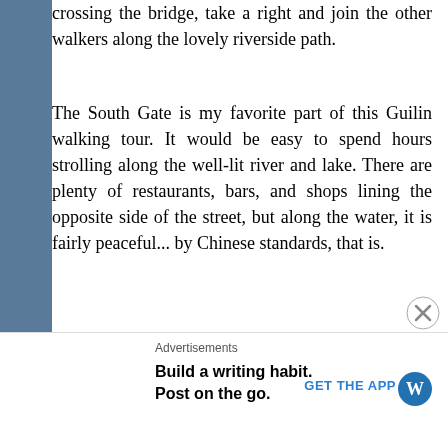crossing the bridge, take a right and join the other walkers along the lovely riverside path.
The South Gate is my favorite part of this Guilin walking tour. It would be easy to spend hours strolling along the well-lit river and lake. There are plenty of restaurants, bars, and shops lining the opposite side of the street, but along the water, it is fairly peaceful... by Chinese standards, that is.
At the intersection of the first major bridge is Gunanmen or The South Gate. It is a remaining piece of the city wall that stood guarding the city of Guilin long ago. Now it is a tourist attraction and open square for dancers and exercisers. These groups of exercisers may sneer if you try to take their picture
Advertisements
Build a writing habit. Post on the go.
GET THE APP